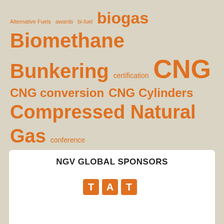[Figure (infographic): Tag cloud / word cloud of topics related to alternative fuels and NGV (Natural Gas Vehicles) industry, with terms sized by frequency/importance. All terms are in orange on a beige/tan background. Largest terms: Compressed Natural Gas, Liquefied natural gas, HD Vehicles, biogas, CNG, Biomethane, Bunkering, Fleets, fueling stations, LNG, Marine, OEM, RNG, urban bus, transit bus. Smaller terms: Alternative Fuels, awards, bi-fuel, certification, CNG conversion, CNG Cylinders, conference, dual-fuel, emissions, Engine, Ford, funding, GHG, hybrid, Hydrogen, Incentive, Iveco, LCNG, lobbying, Locomotive, Mining, motor racing, NGVA Europe, NGVAmerica, refuse vehicles, Reports, Scania, Standards and Regulations, Taxis, Volvo.]
NGV GLOBAL SPONSORS